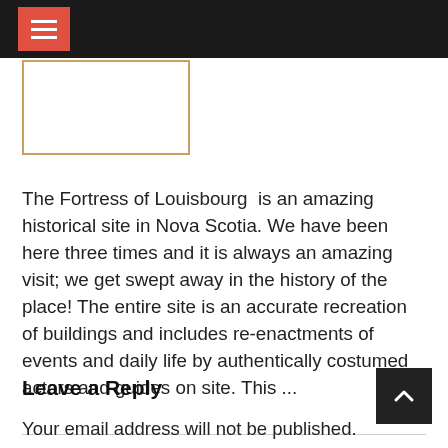[Figure (other): Dark navigation bar with red hamburger menu icon (three white horizontal bars on red background)]
[Figure (other): Empty image placeholder with brown/gold border]
The Fortress of Louisbourg  is an amazing historical site in Nova Scotia. We have been here three times and it is always an amazing visit; we get swept away in the history of the place! The entire site is an accurate recreation of buildings and includes re-enactments of events and daily life by authentically costumed actors and guides on site. This ...
Leave a Reply
Your email address will not be published. Required